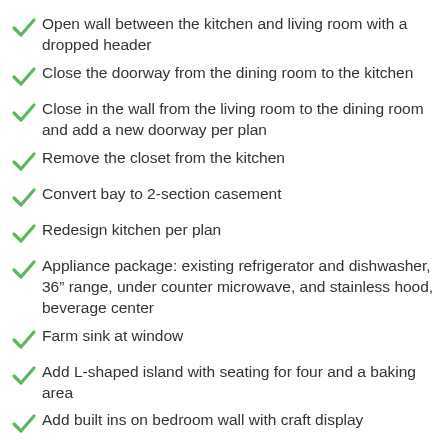Open wall between the kitchen and living room with a dropped header
Close the doorway from the dining room to the kitchen
Close in the wall from the living room to the dining room and add a new doorway per plan
Remove the closet from the kitchen
Convert bay to 2-section casement
Redesign kitchen per plan
Appliance package: existing refrigerator and dishwasher, 36” range, under counter microwave, and stainless hood, beverage center
Farm sink at window
Add L-shaped island with seating for four and a baking area
Add built ins on bedroom wall with craft display
Add a closet to the living room, lay out furniture per plan
Add wine storage and cabinet to the dining room closet